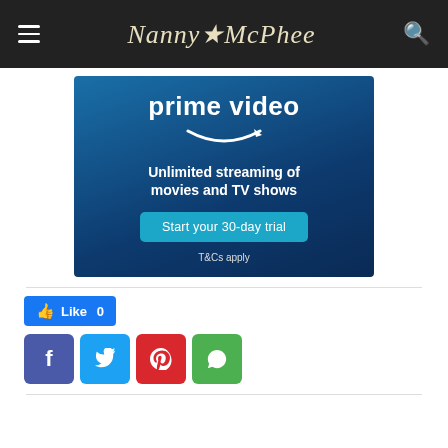Nanny McPhee
[Figure (infographic): Amazon Prime Video advertisement: blue gradient background with 'prime video' logo and Amazon smile arrow, text 'Unlimited streaming of movies and TV shows', a cyan 'Start your 30-day trial' button, and 'T&Cs apply' text.]
Like 0
[Figure (infographic): Row of four social sharing icon buttons: Facebook (purple-blue 'f'), Twitter (light blue bird), Pinterest (red 'p'), WhatsApp (green phone/chat icon).]